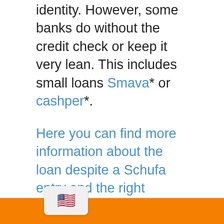identity. However, some banks do without the credit check or keep it very lean. This includes small loans Smava* or cashper*.
Here you can find more information about the loan despite a Schufa entry and the right provider! »
Here you can find more information about the lightning loan with immediate payment. This credit can be on the account in 30 minutes »
These checks can take some time because credit agencies such as SCHUFA are involved. It is therefore better to submit the loan application in the morning if possible in order to be sure to receive the money on the same day.
[Figure (other): Orange banner at the bottom with a US flag icon in a rounded white box on the left side]